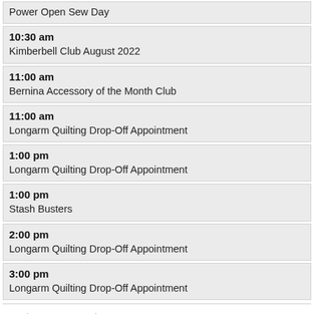Power Open Sew Day
10:30 am
Kimberbell Club August 2022
11:00 am
Bernina Accessory of the Month Club
11:00 am
Longarm Quilting Drop-Off Appointment
1:00 pm
Longarm Quilting Drop-Off Appointment
1:00 pm
Stash Busters
2:00 pm
Longarm Quilting Drop-Off Appointment
3:00 pm
Longarm Quilting Drop-Off Appointment
Sunday, August 14th